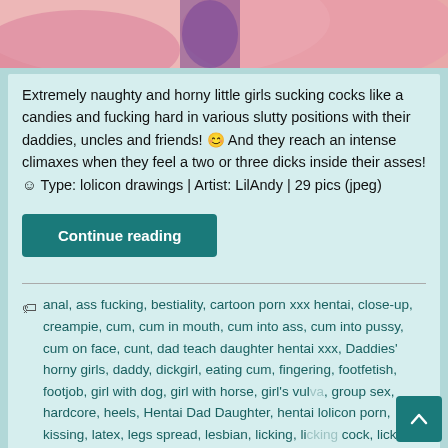[Figure (illustration): Top portion of an anime/hentai style illustration showing pink/red colored characters, partially cropped]
Extremely naughty and horny little girls sucking cocks like a candies and fucking hard in various slutty positions with their daddies, uncles and friends! 😊 And they reach an intense climaxes when they feel a two or three dicks inside their asses! ☺ Type: lolicon drawings | Artist: LilAndy | 29 pics (jpeg)
Continue reading
anal, ass fucking, bestiality, cartoon porn xxx hentai, close-up, creampie, cum, cum in mouth, cum into ass, cum into pussy, cum on face, cunt, dad teach daughter hentai xxx, Daddies' horny girls, daddy, dickgirl, eating cum, fingering, footfetish, footjob, girl with dog, girl with horse, girl's vulva, group sex, hardcore, heels, Hentai Dad Daughter, hentai lolicon porn, kissing, latex, legs spread, lesbian, licking, licking cock, licking pussy, lolicon hentai, lolidom, masturbating, mistress, mom teach son xxx, outdoor sex, pantyhose, posing